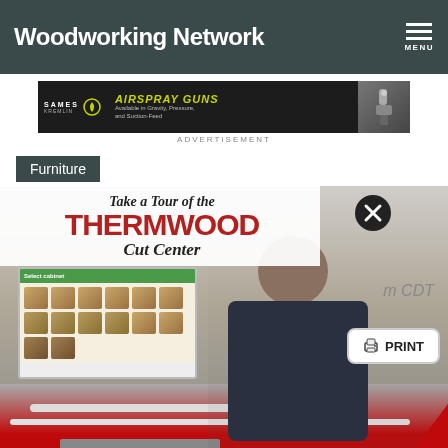Woodworking Network
[Figure (screenshot): Sames Kremlin AirSpray Guns advertisement banner - Available in Gravity, Pressure, and Suction-Feed]
ADVERTISEMENT
Furniture
[Figure (photo): Thermwood Cut Center promotional overlay showing 'Take a Tour of the THERMWOOD Cut Center' with a man in a dark polo shirt standing next to industrial CNC cutting machinery, and a cabinet selector software screen visible. Includes a close (X) button and a PRINT button.]
m CDT